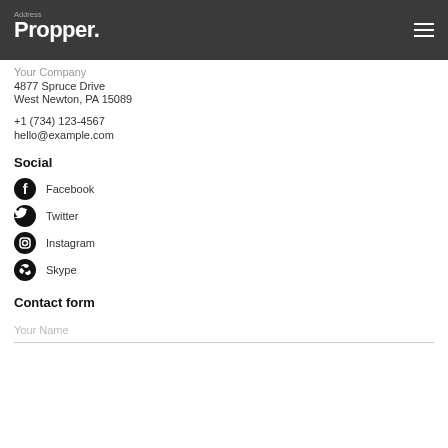Address | Propper.
Your Company
4877 Spruce Drive
West Newton, PA 15089
+1 (734) 123-4567
hello@example.com
Social
Facebook
Twitter
Instagram
Skype
Contact form
Your Name